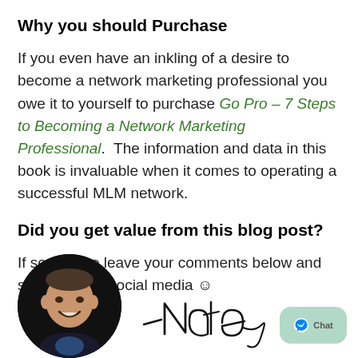Why you should Purchase
If you even have an inkling of a desire to become a network marketing professional you owe it to yourself to purchase Go Pro – 7 Steps to Becoming a Network Marketing Professional. The information and data in this book is invaluable when it comes to operating a successful MLM network.
Did you get value from this blog post?
If so, please leave your comments below and share this on social media 😊
[Figure (photo): Circular headshot photo of an Asian man smiling, on black background, at bottom left. A handwritten signature reading '-Nate' appears to the right. A chat button with Messenger icon appears at bottom right.]